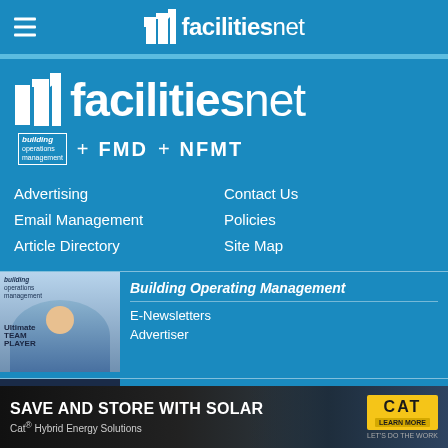facilitiesnet
[Figure (logo): FacilitiesNet logo with building icon — large blue section header with sub-brands: building operations management + FMD + NFMT]
Advertising
Email Management
Article Directory
Contact Us
Policies
Site Map
[Figure (photo): Cover of Building Operating Management magazine showing man with hard hat — Ultimate Team Player]
Building Operating Management
E-Newsletters
Advertiser
[Figure (logo): FMD logo — Facility Maintenance Decisions magazine cover thumbnail]
Facility Maintenance Decisions
[Figure (infographic): Advertisement: SAVE AND STORE WITH SOLAR — Cat Hybrid Energy Solutions, Learn More button, CAT logo]